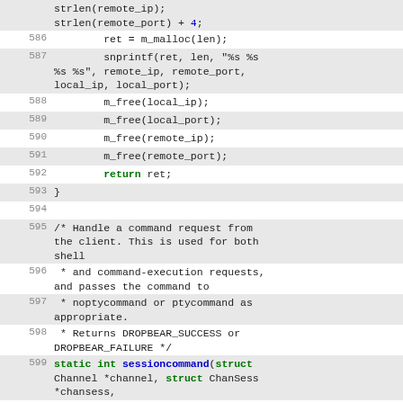Source code listing, lines 585–603
strlen(remote_ip); strlen(remote_port) + 4;
586   ret = m_malloc(len);
587   snprintf(ret, len, "%s %s %s %s", remote_ip, remote_port, local_ip, local_port);
588   m_free(local_ip);
589   m_free(local_port);
590   m_free(remote_ip);
591   m_free(remote_port);
592   return ret;
593   }
594
595   /* Handle a command request from the client. This is used for both shell
596    * and command-execution requests, and passes the command to
597    * noptycommand or ptycommand as appropriate.
598    * Returns DROPBEAR_SUCCESS or DROPBEAR_FAILURE */
599   static int sessioncommand(struct Channel *channel, struct ChanSess *chansess,
600                   int iscmd, int issubsys) {
601
602   unsigned int cmdlen;
603   int ret;